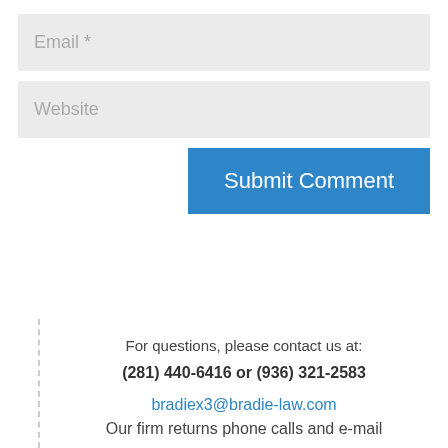Email *
Website
Submit Comment
For questions, please contact us at:
(281) 440-6416 or (936) 321-2583
bradiex3@bradie-law.com
Our firm returns phone calls and e-mail